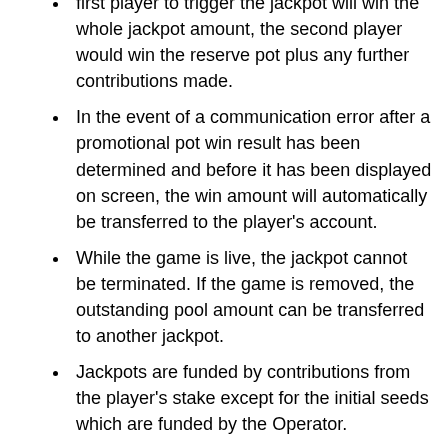first player to trigger the jackpot will win the whole jackpot amount, the second player would win the reserve pot plus any further contributions made.
In the event of a communication error after a promotional pot win result has been determined and before it has been displayed on screen, the win amount will automatically be transferred to the player's account.
While the game is live, the jackpot cannot be terminated. If the game is removed, the outstanding pool amount can be transferred to another jackpot.
Jackpots are funded by contributions from the player's stake except for the initial seeds which are funded by the Operator.
Payout Information and Game Rules
Line wins are multiplied by the value bet on the winning line.
Wins on different paylines are added